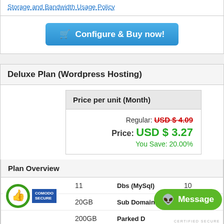Storage and Bandwidth Usage Policy
Configure & Buy now!
Deluxe Plan (Wordpress Hosting)
| Price per unit (Month) |
| --- |
| Regular: USD $ 4.09 |
| Price: USD $ 3.27 |
| You Save: 20.00% |
Plan Overview
| Feature | Value | Feature | Value |
| --- | --- | --- | --- |
| Websites | 11 | Dbs (MySql) | 10 |
| Storage | 20GB | Sub Domains | 50 |
|  | 200GB | Parked D... |  |